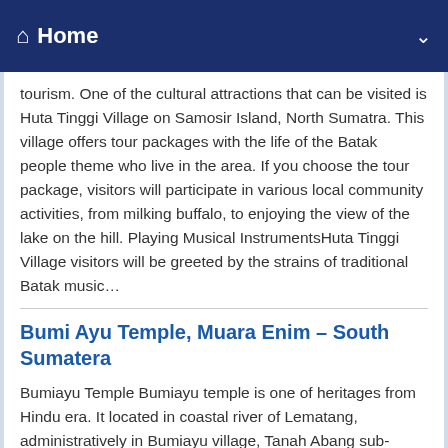Home
tourism. One of the cultural attractions that can be visited is Huta Tinggi Village on Samosir Island, North Sumatra. This village offers tour packages with the life of the Batak people theme who live in the area. If you choose the tour package, visitors will participate in various local community activities, from milking buffalo, to enjoying the view of the lake on the hill. Playing Musical InstrumentsHuta Tinggi Village visitors will be greeted by the strains of traditional Batak music…
Bumi Ayu Temple, Muara Enim – South Sumatera
Bumiayu Temple Bumiayu temple is one of heritages from Hindu era. It located in coastal river of Lematang, administratively in Bumiayu village, Tanah Abang sub-district, Penukal Abab regency, Pematang Ilir. This temple is the only complex of temples in South Sumatra. Until today, there are less than 9 temples that been found in this area, and four of them have been restored, those are Temple 1, Temple 2, Temple 3 and Temple 8. This preservation has begun since